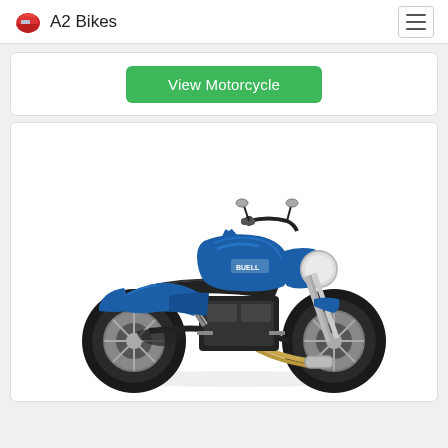A2 Bikes
View Motorcycle
[Figure (photo): Blue motorcycle (naked/streetfighter style) photographed on white background, side profile view showing engine, exhaust pipes, dual seat, and front fork]